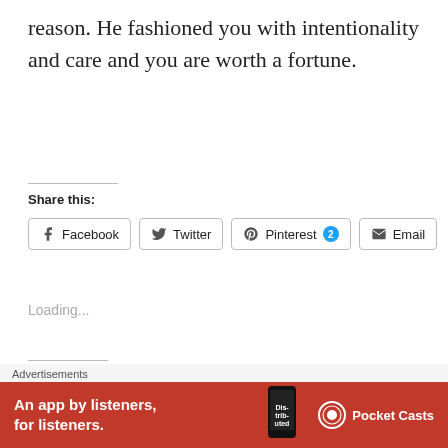reason. He fashioned you with intentionality and care and you are worth a fortune.
Share this:
Facebook  Twitter  Pinterest 2  Email
Loading...
Related
[Figure (photo): Two related article thumbnail images side by side]
[Figure (other): Pocket Casts advertisement banner: An app by listeners, for listeners.]